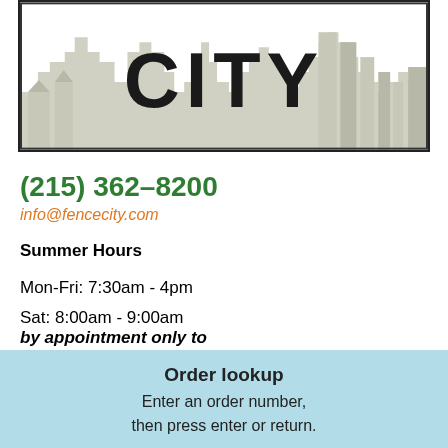[Figure (logo): Fence City logo with city skyline silhouette in gray and the word CITY in bold black block letters]
(215) 362-8200
info@fencecity.com
Summer Hours
Mon-Fri: 7:30am - 4pm
Sat: 8:00am - 9:00am
by appointment only to pickup purchased materials
Sun: Closed
Order lookup
Enter an order number, then press enter or return.